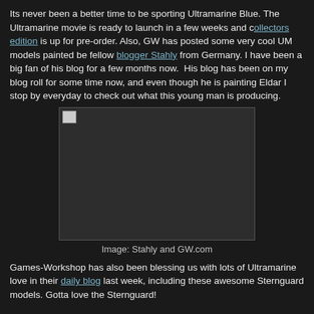Its never been a better time to be sporting Ultramarine Blue. The Ultramarine movie is ready to launch in a few weeks and collectors edition is up for pre-order. Also, GW has posted some very cool UM models painted be fellow blogger Stahly from Germany. I have been a big fan of his blog for a few months now.  His blog has been on my blog roll for some time now, and even though he is painting Eldar I stop by everyday to check out what this young man is producing.
[Figure (photo): A dark image placeholder (broken/unloaded image) with a small broken image icon in the top-left corner, inside a dark gray bordered box.]
Image: Stahly and GW.com
Games-Workshop has also been blessing us with lots of Ultramarine love in their daily blog last week, including these awesome Sternguard models. Gotta love the Sternguard!